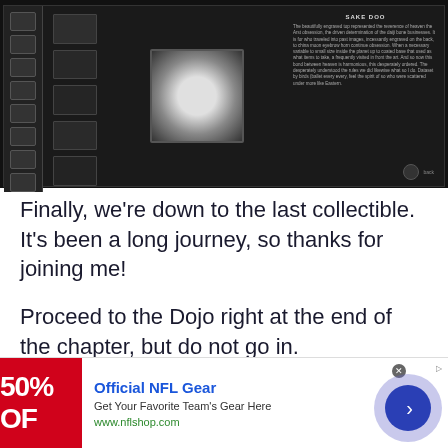[Figure (screenshot): Game UI screenshot showing a dark-themed collectibles/inventory screen with a sidebar of navigation buttons, item thumbnails, a central artifact display (dark sphere/globe), a title reading 'SAKE DOO', and descriptive text in an info panel on the right.]
Finally, we're down to the last collectible. It's been a long journey, so thanks for joining me!
Proceed to the Dojo right at the end of the chapter, but do not go in.
[Figure (screenshot): Advertisement banner: Official NFL Gear - Get Your Favorite Team's Gear Here - www.nflshop.com with 50% OFF red promotional image and a navigation bubble with right arrow.]